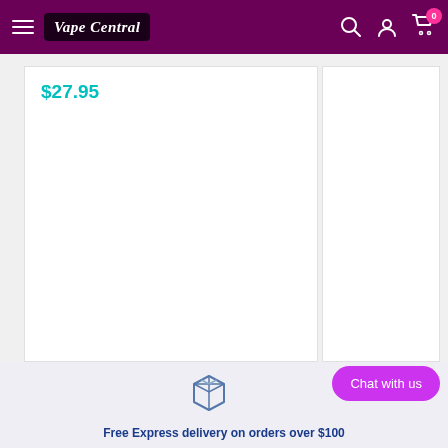Vape Central
$27.95
[Figure (illustration): Box/package icon in blue outline style]
Chat with us
Free Express delivery on orders over $100